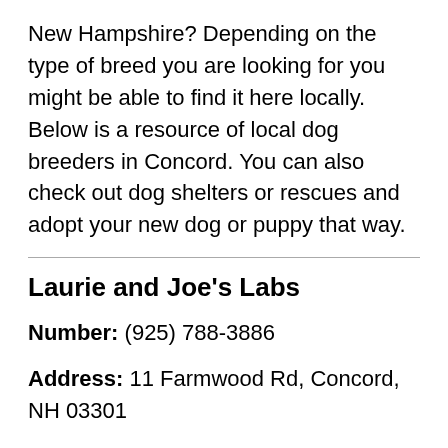New Hampshire? Depending on the type of breed you are looking for you might be able to find it here locally. Below is a resource of local dog breeders in Concord. You can also check out dog shelters or rescues and adopt your new dog or puppy that way.
Laurie and Joe's Labs
Number: (925) 788-3886
Address: 11 Farmwood Rd, Concord, NH 03301
Website: concordpuppies.com